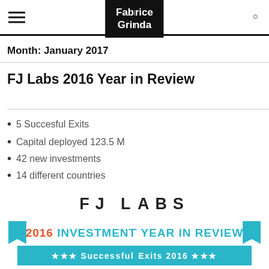Fabrice Grinda
Month: January 2017
FJ Labs 2016 Year in Review
5 Succesful Exits
Capital deployed 123.5 M
42 new investments
14 different countries
[Figure (logo): FJ LABS logo in large spaced black letters]
[Figure (infographic): 2016 Investment Year in Review banner with teal ribbon design and red/teal text. Bottom ribbon reads: Successful Exits 2016]